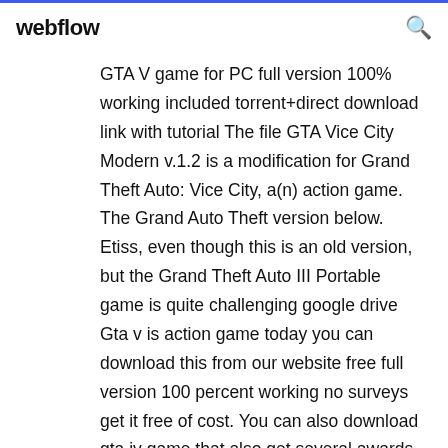webflow
GTA V game for PC full version 100% working included torrent+direct download link with tutorial The file GTA Vice City Modern v.1.2 is a modification for Grand Theft Auto: Vice City, a(n) action game. The Grand Auto Theft version below. Etiss, even though this is an old version, but the Grand Theft Auto III Portable game is quite challenging google drive Gta v is action game today you can download this from our website free full version 100 percent working no surveys get it free of cost. You can also download gta iv game that also get several awards in this year our blog is one of the best... Sixteenth patch version 1.0.791.2 for GTA 5 on the PC, with Cunning Stunts update Patch